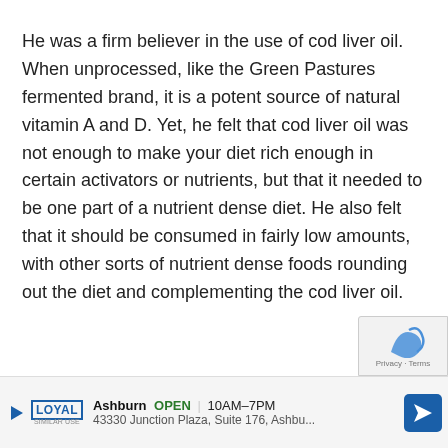He was a firm believer in the use of cod liver oil. When unprocessed, like the Green Pastures fermented brand, it is a potent source of natural vitamin A and D. Yet, he felt that cod liver oil was not enough to make your diet rich enough in certain activators or nutrients, but that it needed to be one part of a nutrient dense diet. He also felt that it should be consumed in fairly low amounts, with other sorts of nutrient dense foods rounding out the diet and complementing the cod liver oil.
Ashburn OPEN | 10AM–7PM 43330 Junction Plaza, Suite 176, Ashbu...